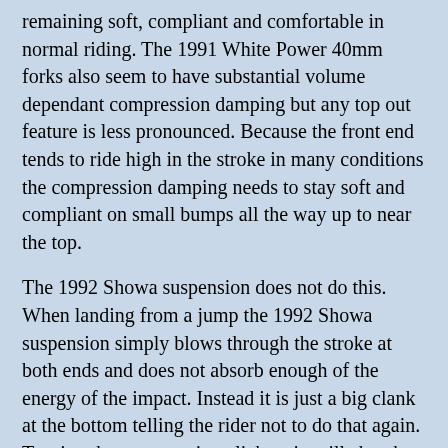remaining soft, compliant and comfortable in normal riding. The 1991 White Power 40mm forks also seem to have substantial volume dependant compression damping but any top out feature is less pronounced. Because the front end tends to ride high in the stroke in many conditions the compression damping needs to stay soft and compliant on small bumps all the way up to near the top.
The 1992 Showa suspension does not do this. When landing from a jump the 1992 Showa suspension simply blows through the stroke at both ends and does not absorb enough of the energy of the impact. Instead it is just a big clank at the bottom telling the rider not to do that again. Turning the compression clickers in will absorb more of the energy of a big landing, but then the bike gets even more uncomfortable and slower. The compression clickers on the 1992 Showa suspension seem to mostly adjust the low speed compression damping. Turning the clickers all the way in does help a bit with absorbing all types of impacts, but then the